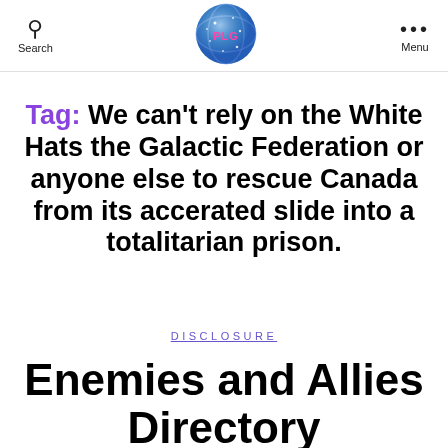Search | PLG logo | Menu
Tag: We can't rely on the White Hats the Galactic Federation or anyone else to rescue Canada from its accerated slide into a totalitarian prison.
DISCLOSURE
Enemies and Allies Directory